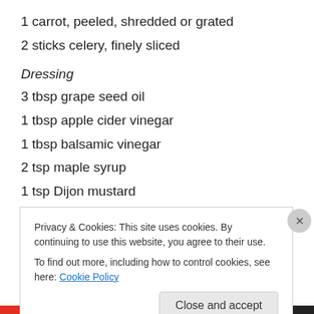1 carrot, peeled, shredded or grated
2 sticks celery, finely sliced
Dressing
3 tbsp grape seed oil
1 tbsp apple cider vinegar
1 tbsp balsamic vinegar
2 tsp maple syrup
1 tsp Dijon mustard
Put the apple into a medium-sized salad bowl. Squeeze the lemon over it and coat the apple well in the juice (to
Privacy & Cookies: This site uses cookies. By continuing to use this website, you agree to their use.
To find out more, including how to control cookies, see here: Cookie Policy